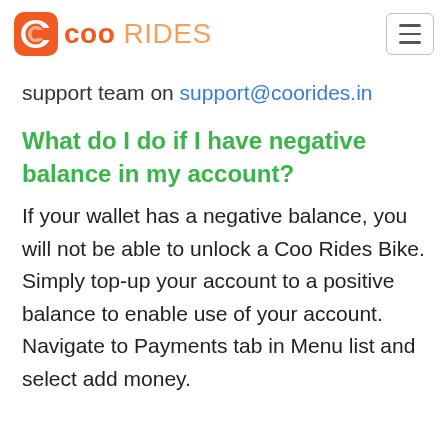coo RIDES
support team on support@coorides.in
What do I do if I have negative balance in my account?
If your wallet has a negative balance, you will not be able to unlock a Coo Rides Bike. Simply top-up your account to a positive balance to enable use of your account. Navigate to Payments tab in Menu list and select add money.